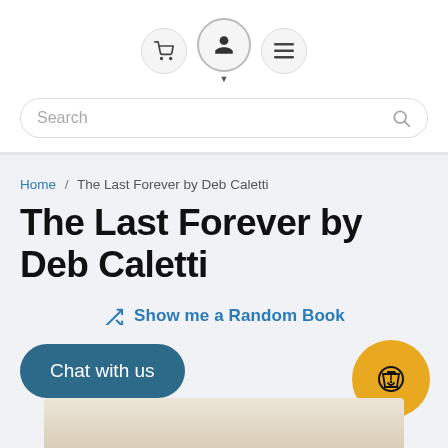Navigation icons: cart, user account, menu
Search
Home / The Last Forever by Deb Caletti
The Last Forever by Deb Caletti
Show me a Random Book
Chat with us